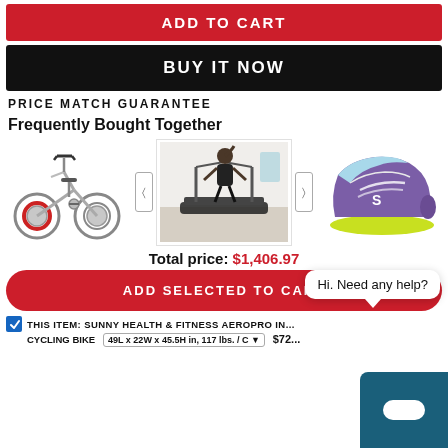ADD TO CART
BUY IT NOW
PRICE MATCH GUARANTEE
Frequently Bought Together
[Figure (photo): Spinning/cycling bike product image]
[Figure (photo): Woman on treadmill lifestyle image]
[Figure (photo): Running shoe product image (purple/blue/yellow)]
Total price: $1,406.97
ADD SELECTED TO CART
Hi. Need any help?
THIS ITEM: SUNNY HEALTH & FITNESS AEROPRO IN... CYCLING BIKE
49L x 22W x 45.5H in, 117 lbs. / C
$72...